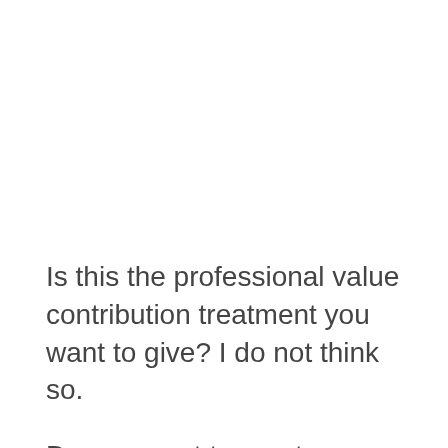Is this the professional value contribution treatment you want to give? I do not think so.
Do you want to create custom fonts for your Twitter profile visit